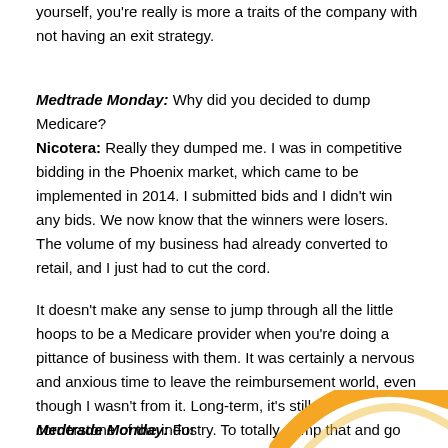yourself, you're really is more a traits of the company with not having an exit strategy.
Medtrade Monday: Why did you decided to dump Medicare? Nicotera: Really they dumped me. I was in competitive bidding in the Phoenix market, which came to be implemented in 2014. I submitted bids and I didn't win any bids. We now know that the winners were losers. The volume of my business had already converted to retail, and I just had to cut the cord.
It doesn't make any sense to jump through all the little hoops to be a Medicare provider when you're doing a pittance of business with them. It was certainly a nervous and anxious time to leave the reimbursement world, even though I wasn't from it. Long-term, it's still the cornerstone of the industry. To totally dump that and go retail only is still not a common path taken in this industry, but I sure am glad I did it.
Medtrade Monday: For
[Figure (illustration): Partial view of an orange circular arc/logo graphic at the bottom right of the page]